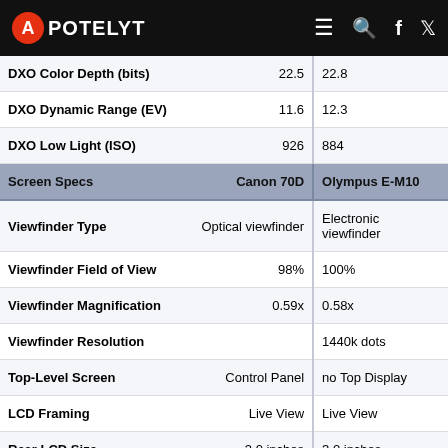APOTELYT
| Screen Specs | Canon 70D | Olympus E-M10 |
| --- | --- | --- |
| DXO Color Depth (bits) | 22.5 | 22.8 |
| DXO Dynamic Range (EV) | 11.6 | 12.3 |
| DXO Low Light (ISO) | 926 | 884 |
| Viewfinder Type | Optical viewfinder | Electronic viewfinder |
| Viewfinder Field of View | 98% | 100% |
| Viewfinder Magnification | 0.59x | 0.58x |
| Viewfinder Resolution |  | 1440k dots |
| Top-Level Screen | Control Panel | no Top Display |
| LCD Framing | Live View | Live View |
| Rear LCD Size | 3.0 inches | 3.0 inches |